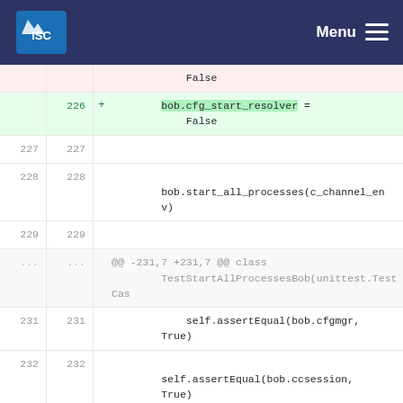ISC Menu
[Figure (screenshot): Code diff view showing Python unittest code changes. Lines 226-234 visible with added/deleted lines highlighted in green/red. Shows changes to bob.cfg_start_resolver, bob.start_all_processes, self.assertEqual assertions for bob.cfgmgr, bob.ccsession, bob.auth, bob.recurse.]